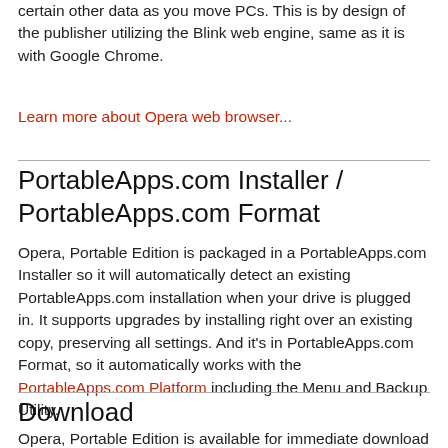certain other data as you move PCs. This is by design of the publisher utilizing the Blink web engine, same as it is with Google Chrome.
Learn more about Opera web browser...
PortableApps.com Installer / PortableApps.com Format
Opera, Portable Edition is packaged in a PortableApps.com Installer so it will automatically detect an existing PortableApps.com installation when your drive is plugged in. It supports upgrades by installing right over an existing copy, preserving all settings. And it's in PortableApps.com Format, so it automatically works with the PortableApps.com Platform including the Menu and Backup Utility.
Download
Opera, Portable Edition is available for immediate download